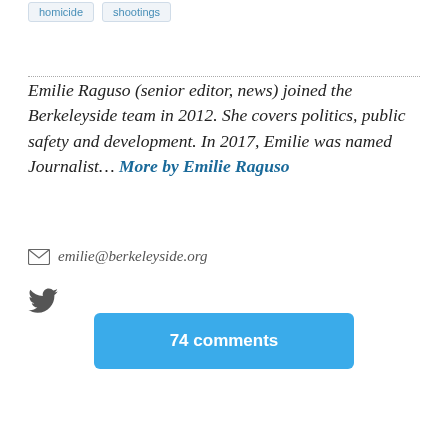homicide
shootings
Emilie Raguso (senior editor, news) joined the Berkeleyside team in 2012. She covers politics, public safety and development. In 2017, Emilie was named Journalist... More by Emilie Raguso
emilie@berkeleyside.org
[Figure (illustration): Twitter bird icon]
74 comments